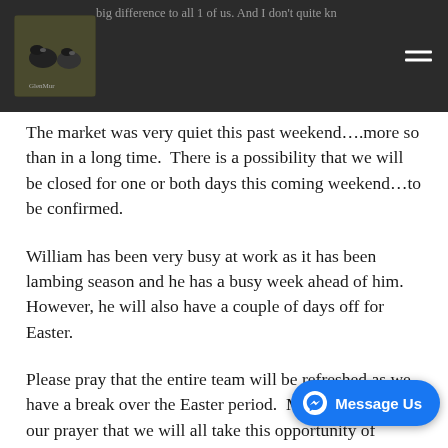…big difference to all 1 of us. And I don't quite kn…
The market was very quiet this past weekend….more so than in a long time.  There is a possibility that we will be closed for one or both days this coming weekend…to be confirmed.
William has been very busy at work as it has been lambing season and he has a busy week ahead of him.  However, he will also have a couple of days off for Easter.
Please pray that the entire team will be refreshed as we have a break over the Easter period.  Most of all, it is our prayer that we will all take this opportunity of remembering the meaning of Easter and how the Lord Jesus gave His life and rose again so tha… eternal life.